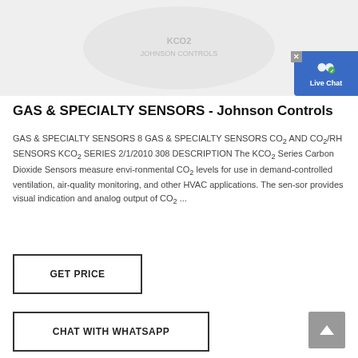[Figure (photo): Product image of a carbon dioxide sensor on light gray background with circular embossed logo]
[Figure (other): Live Chat button widget in blue with user icon and checkmark badge]
GAS & SPECIALTY SENSORS - Johnson Controls
GAS & SPECIALTY SENSORS 8 GAS & SPECIALTY SENSORS CO2 AND CO2/RH SENSORS KCO2 SERIES 2/1/2010 308 DESCRIPTION The KCO2 Series Carbon Dioxide Sensors measure envi-ronmental CO2 levels for use in demand-controlled ventilation, air-quality monitoring, and other HVAC applications. The sen-sor provides visual indication and analog output of CO2 ...
GET PRICE
CHAT WITH WHATSAPP